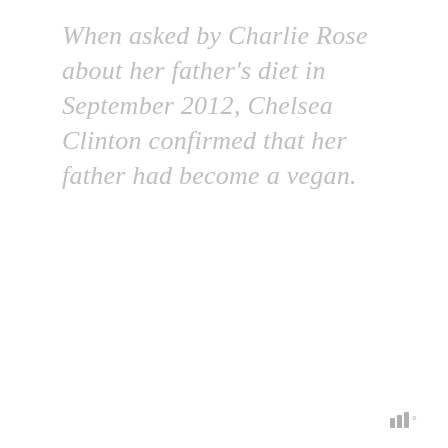When asked by Charlie Rose about her father's diet in September 2012, Chelsea Clinton confirmed that her father had become a vegan.
|||°